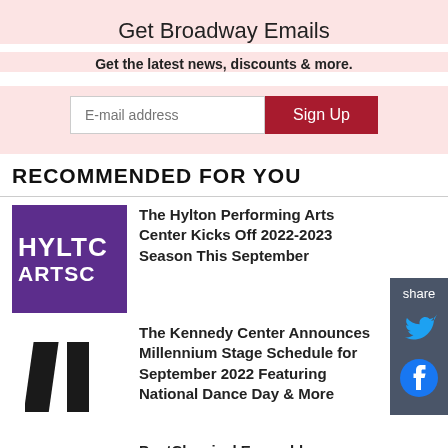Get Broadway Emails
Get the latest news, discounts & more.
RECOMMENDED FOR YOU
The Hylton Performing Arts Center Kicks Off 2022-2023 Season This September
The Kennedy Center Announces Millennium Stage Schedule for September 2022 Featuring National Dance Day & More
PostClassical Ensemble Announces 2022-2023